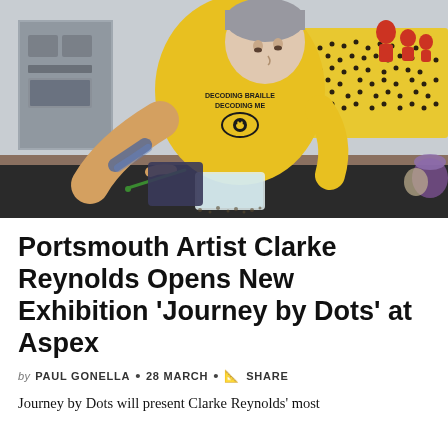[Figure (photo): A man with short grey hair, tattoos on his forearms, wearing a yellow t-shirt reading 'DECODING BRAILLE DECODING ME' with a graphic of an eye, leaning over a dark table and using a brush or tool on a surface. In the background is a yellow board with braille dots, and some equipment.]
Portsmouth Artist Clarke Reynolds Opens New Exhibition 'Journey by Dots' at Aspex
by PAUL GONELLA • 28 MARCH • SHARE
Journey by Dots will present Clarke Reynolds' most